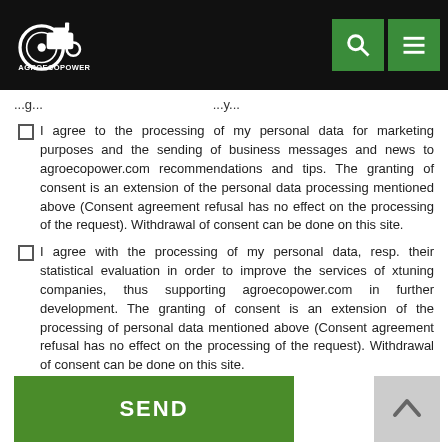AGROECOPOWER logo header with search and menu buttons
...g... ...y...
I agree to the processing of my personal data for marketing purposes and the sending of business messages and news to agroecopower.com recommendations and tips. The granting of consent is an extension of the personal data processing mentioned above (Consent agreement refusal has no effect on the processing of the request). Withdrawal of consent can be done on this site.
I agree with the processing of my personal data, resp. their statistical evaluation in order to improve the services of xtuning companies, thus supporting agroecopower.com in further development. The granting of consent is an extension of the processing of personal data mentioned above (Consent agreement refusal has no effect on the processing of the request). Withdrawal of consent can be done on this site.
SEND